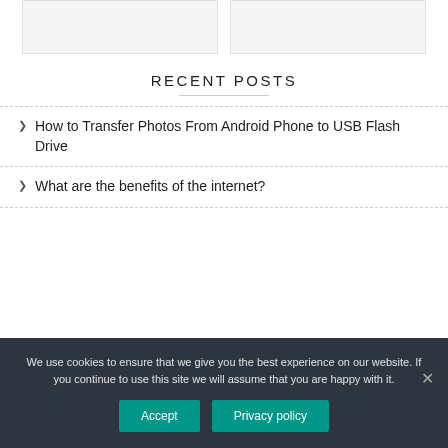[Figure (other): Two placeholder image boxes side by side with light gray background]
RECENT POSTS
How to Transfer Photos From Android Phone to USB Flash Drive
What are the benefits of the internet?
We use cookies to ensure that we give you the best experience on our website. If you continue to use this site we will assume that you are happy with it.
Accept   Privacy policy